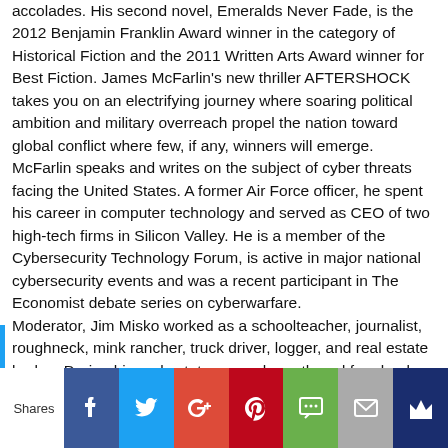accolades. His second novel, Emeralds Never Fade, is the 2012 Benjamin Franklin Award winner in the category of Historical Fiction and the 2011 Written Arts Award winner for Best Fiction. James McFarlin's new thriller AFTERSHOCK takes you on an electrifying journey where soaring political ambition and military overreach propel the nation toward global conflict where few, if any, winners will emerge. McFarlin speaks and writes on the subject of cyber threats facing the United States. A former Air Force officer, he spent his career in computer technology and served as CEO of two high-tech firms in Silicon Valley. He is a member of the Cybersecurity Technology Forum, is active in major national cybersecurity events and was a recent participant in The Economist debate series on cyberwarfare. Moderator, Jim Misko worked as a schoolteacher, journalist, roughneck, mink rancher, truck driver, logger, and real estate broker. During his real estate career he authored four books on
[Figure (infographic): Social sharing bar with Shares label and buttons: Facebook, Twitter, Google+, Pinterest, SMS, Mail, Crown]